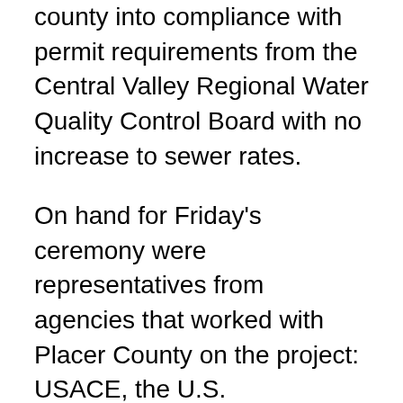county into compliance with permit requirements from the Central Valley Regional Water Quality Control Board with no increase to sewer rates.
On hand for Friday's ceremony were representatives from agencies that worked with Placer County on the project: USACE, the U.S. Environmental Protection Agency, State Water Resources Control Board, Regional Water Quality Control Board and City of Roseville.
“The Army Corps of Engineers are the nation’s environmental engineers – taking care of the most important impacts for